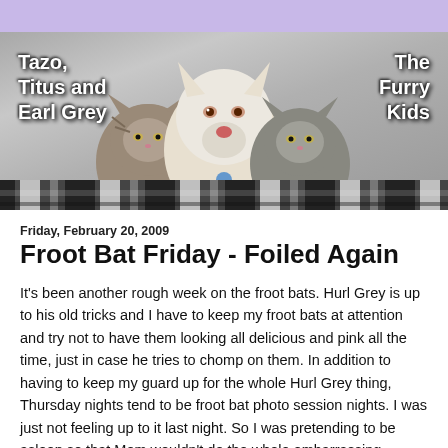[Figure (illustration): Blog header banner showing two cats and a white dog with text 'Tazo, Titus and Earl Grey' on the left and 'The Furry Kids' on the right, on a gray textured background with plaid strip at the bottom. Above the banner is a lavender/purple bar.]
Friday, February 20, 2009
Froot Bat Friday - Foiled Again
It's been another rough week on the froot bats. Hurl Grey is up to his old tricks and I have to keep my froot bats at attention and try not to have them looking all delicious and pink all the time, just in case he tries to chomp on them. In addition to having to keep my guard up for the whole Hurl Grey thing, Thursday nights tend to be froot bat photo session nights. I was just not feeling up to it last night. So I was pretending to be asleep so that Mom wouldn't do the whole embarrassing "gimme some froooooot baaaaat" thing.